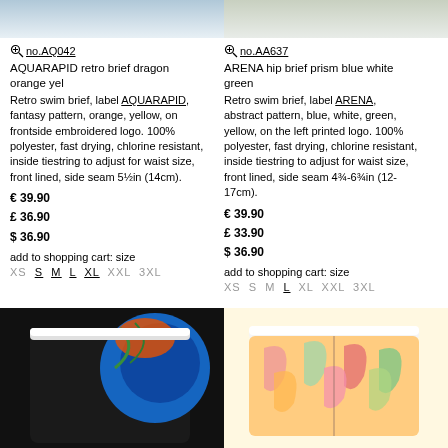[Figure (photo): Top portion of two swim brief product photos cropped at top]
no.AQ042
AQUARAPID retro brief dragon orange yel
Retro swim brief, label AQUARAPID, fantasy pattern, orange, yellow, on frontside embroidered logo. 100% polyester, fast drying, chlorine resistant, inside tiestring to adjust for waist size, front lined, side seam 5½in (14cm).
€ 39.90
£ 36.90
$ 36.90
add to shopping cart: size
XS S M L XL XXL 3XL
no.AA637
ARENA hip brief prism blue white green
Retro swim brief, label ARENA, abstract pattern, blue, white, green, yellow, on the left printed logo. 100% polyester, fast drying, chlorine resistant, inside tiestring to adjust for waist size, front lined, side seam 4¾-6¾in (12-17cm).
€ 39.90
£ 33.90
$ 36.90
add to shopping cart: size
XS S M L XL XXL 3XL
[Figure (photo): Speedo swim jammer with blue flame/tropical print pattern on black]
[Figure (photo): Tropical leaf print swim shorts in orange, red, green, yellow tones]